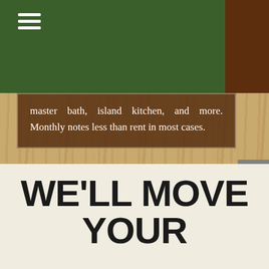[Figure (screenshot): Website screenshot showing a wood-grain textured background with a dark green navigation bar at top-left and dark brown block at top-right. Below is a dark brown semi-transparent text box with white text reading 'master bath, island kitchen, and more. Monthly notes less than rent in most cases.' A dark brown button labeled 'View All Projects' appears below on the wood background. A gray scroll-up arrow button is at the bottom-right. The bottom portion shows a cream/off-white background.]
master bath, island kitchen, and more. Monthly notes less than rent in most cases.
View All Projects
WE'LL MOVE YOUR